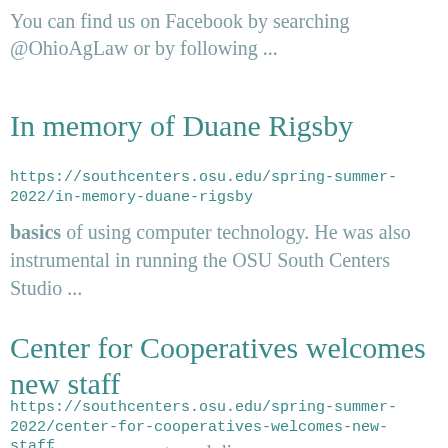You can find us on Facebook by searching @OhioAgLaw or by following ...
In memory of Duane Rigsby
https://southcenters.osu.edu/spring-summer-2022/in-memory-duane-rigsby
basics of using computer technology. He was also instrumental in running the OSU South Centers Studio ...
Center for Cooperatives welcomes new staff
https://southcenters.osu.edu/spring-summer-2022/center-for-cooperatives-welcomes-new-staff
events, engagements and dinners: